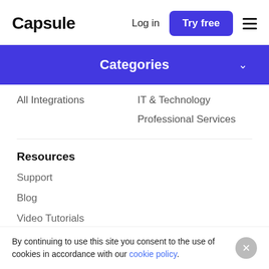Capsule  Log in  Try free
Categories
All Integrations
IT & Technology
Professional Services
Resources
Support
Blog
Video Tutorials
By continuing to use this site you consent to the use of cookies in accordance with our cookie policy.